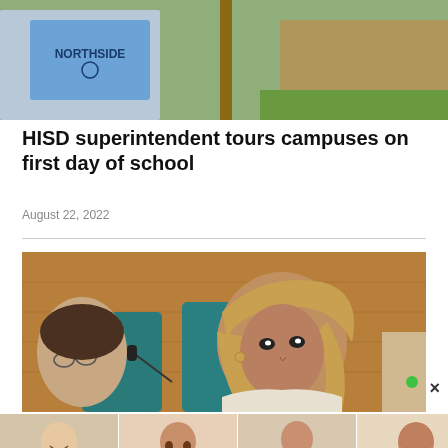[Figure (photo): Top partial photo showing people wearing a blue Northside t-shirt outdoors]
HISD superintendent tours campuses on first day of school
August 22, 2022
[Figure (photo): A woman with long highlighted hair wearing a white blazer sits at a hearing table with teal chairs; another woman with glasses and a microphone is partially visible at left]
[Figure (photo): Advertisement banner showing four people in separate photo panels and a COVID-19 vaccination promotional message reading: If not for yourself, do it for the ones you love.]